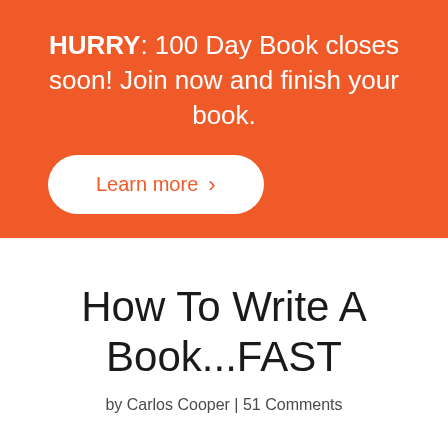HURRY: 100 Day Book closes soon! Join now and finish your book.
Learn more >
How To Write A Book...FAST
by Carlos Cooper | 51 Comments